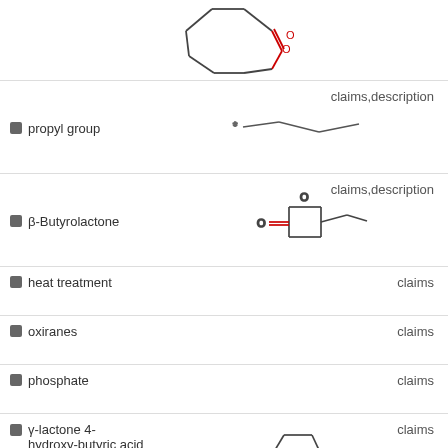[Figure (illustration): Chemical structure of a cyclic lactone (caprolactone ring) with C=O and O in the ring, shown at top of page (partial).]
propyl group — claims,description
[Figure (illustration): Chemical structure of a propyl group with asterisk (*) at attachment point, zigzag chain.]
β-Butyrolactone — claims,description
[Figure (illustration): Chemical structure of β-Butyrolactone: a 4-membered ring with O and C=O, with a methyl substituent.]
heat treatment — claims
oxiranes — claims
phosphate — claims
γ-lactone 4-hydroxy-butyric acid — claims
[Figure (illustration): Partial chemical structure of γ-lactone 4-hydroxy-butyric acid: five-membered ring with C=O, shown at bottom (partial).]